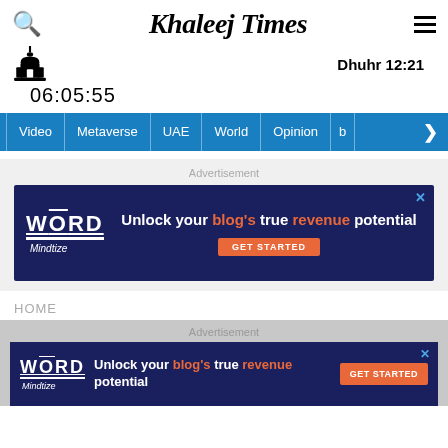Khaleej Times
Dhuhr 12:21
06:05:55
Video | Metaverse | UAE | World | Opinion | ▶
Advertisement
[Figure (screenshot): WordMindize advertisement banner: 'Unlock your blog's true revenue potential' with GET STARTED button on dark navy background]
HOME
Advertisement
[Figure (screenshot): WordMindize advertisement banner (smaller): 'Unlock your blog's true revenue potential' with GET STARTED button on dark navy background]